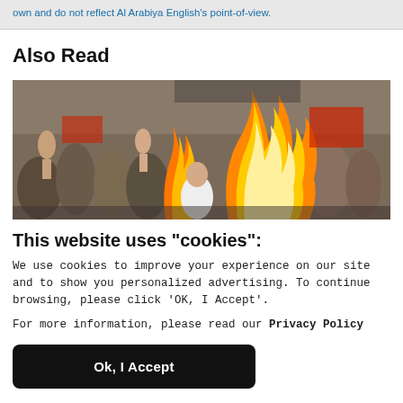own and do not reflect Al Arabiya English's point-of-view.
Also Read
[Figure (photo): A crowd of protesters with a large fire burning in the foreground, people raising hands, protest scene.]
This website uses "cookies":
We use cookies to improve your experience on our site and to show you personalized advertising. To continue browsing, please click 'OK, I Accept'.
For more information, please read our Privacy Policy
Ok, I Accept